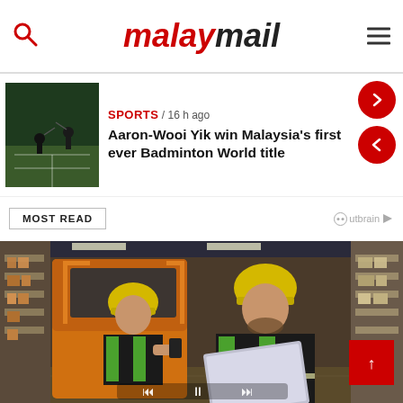malaymail
SPORTS / 16 h ago
Aaron-Wooi Yik win Malaysia's first ever Badminton World title
MOST READ
[Figure (photo): Two warehouse workers wearing yellow hard hats and high-visibility green vests. One sits on an orange forklift holding a phone, the other stands holding a laptop open. Shelving with boxes visible in background.]